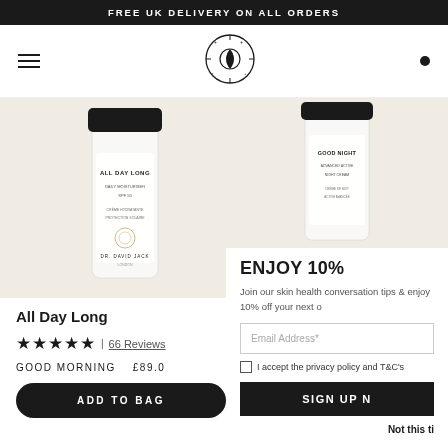FREE UK DELIVERY ON ALL ORDERS
[Figure (logo): Dr. David Jack brand logo - circular emblem with sun/moon motif]
[Figure (photo): All Day Long daily moisturiser SPF50 product bottle by Dr. David Jack, white bottle with black cap]
All Day Long
★★★★★ | 66 Reviews
GOOD MORNING  £89.0
ADD TO BAG
[Figure (photo): Good Night advanced active night cream product bottle by Dr. David Jack, white bottle with black cap]
ENJOY 10%
Join our skin health conversation tips & enjoy 10% off your next o
Email Address*
I accept the privacy policy and T&C's
SIGN UP N
Not this ti